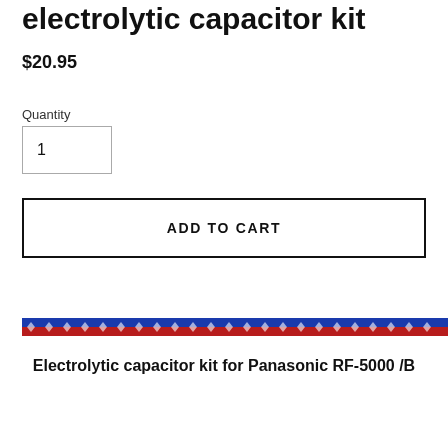electrolytic capacitor kit
$20.95
Quantity
1
ADD TO CART
[Figure (illustration): Decorative horizontal divider strip with repeating blue and red pattern with white zigzag/star motifs]
Electrolytic capacitor kit for Panasonic RF-5000 /B